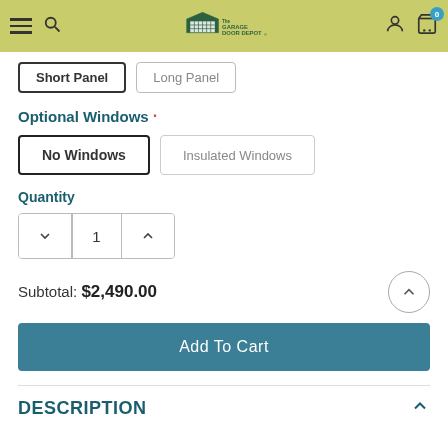The Garage Door Depot — navigation header with hamburger menu, search, logo, user icon, cart (0)
Short Panel | Long Panel
Optional Windows
No Windows | Insulated Windows
Quantity
1
Subtotal: $2,490.00
Add To Cart
DESCRIPTION